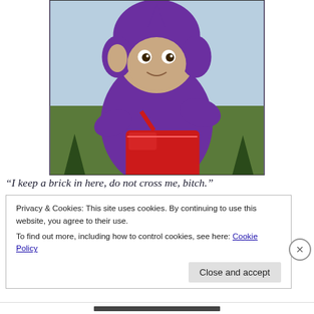[Figure (photo): A purple Teletubby character (Tinky Winky) holding a red shiny handbag against a light blue sky background with some trees visible at the bottom.]
“I keep a brick in here, do not cross me, bitch.”
Privacy & Cookies: This site uses cookies. By continuing to use this website, you agree to their use.
To find out more, including how to control cookies, see here: Cookie Policy